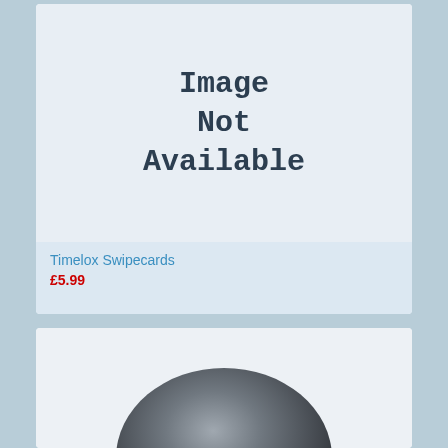[Figure (photo): Product image placeholder showing 'Image Not Available' text in bold monospace font on a light blue-grey background]
Timelox Swipecards
£5.99
[Figure (photo): Partial view of a dark grey circular/dome-shaped product at the bottom of the page, cropped]